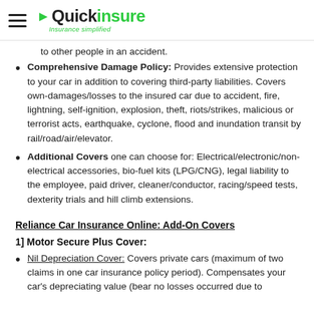Quickinsure — Insurance simplified
to other people in an accident.
Comprehensive Damage Policy: Provides extensive protection to your car in addition to covering third-party liabilities. Covers own-damages/losses to the insured car due to accident, fire, lightning, self-ignition, explosion, theft, riots/strikes, malicious or terrorist acts, earthquake, cyclone, flood and inundation transit by rail/road/air/elevator.
Additional Covers one can choose for: Electrical/electronic/non-electrical accessories, bio-fuel kits (LPG/CNG), legal liability to the employee, paid driver, cleaner/conductor, racing/speed tests, dexterity trials and hill climb extensions.
Reliance Car Insurance Online: Add-On Covers
1] Motor Secure Plus Cover:
Nil Depreciation Cover: Covers private cars (maximum of two claims in one car insurance policy period). Compensates your car's depreciating value (bear no losses occurred due to